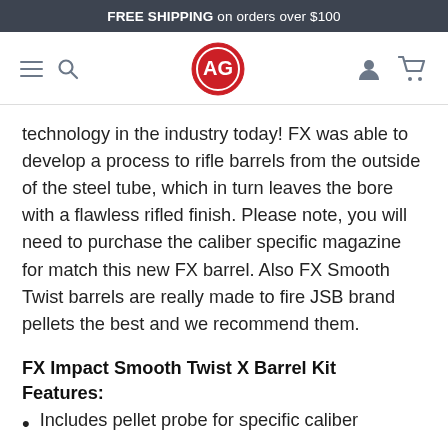FREE SHIPPING on orders over $100
[Figure (logo): Website navigation bar with hamburger menu, search icon, AG circular logo in red, user account icon, and shopping cart icon]
technology in the industry today! FX was able to develop a process to rifle barrels from the outside of the steel tube, which in turn leaves the bore with a flawless rifled finish. Please note, you will need to purchase the caliber specific magazine for match this new FX barrel. Also FX Smooth Twist barrels are really made to fire JSB brand pellets the best and we recommend them.
FX Impact Smooth Twist X Barrel Kit Features:
Includes pellet probe for specific caliber